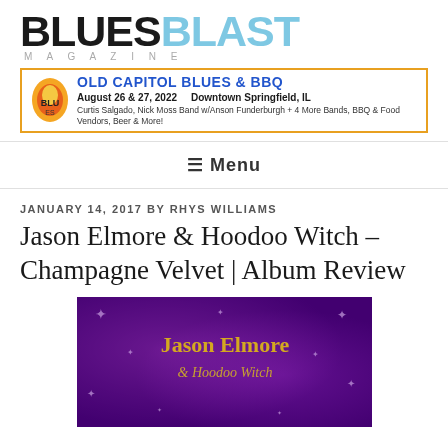BLUES BLAST MAGAZINE
[Figure (infographic): Old Capitol Blues & BBQ advertisement banner: August 26 & 27, 2022, Downtown Springfield, IL. Performers: Curtis Salgado, Nick Moss Band w/Anson Funderburgh + 4 More Bands, BBQ & Food Vendors, Beer & More!]
≡ Menu
JANUARY 14, 2017 BY RHYS WILLIAMS
Jason Elmore & Hoodoo Witch – Champagne Velvet | Album Review
[Figure (photo): Album cover for Jason Elmore & Hoodoo Witch – purple glittery background with sparkle star decorations and the text 'Jason Elmore & Hoodoo Witch' in gold lettering]